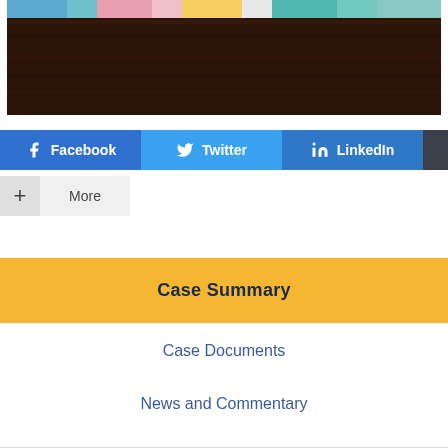[Figure (photo): Photo of a dark wooden table surface with colorful folders/papers (blue, pink, yellow, teal) visible at the top edge against a light background]
Facebook  Twitter  LinkedIn  Email  + More
Case Summary
Case Documents
News and Commentary